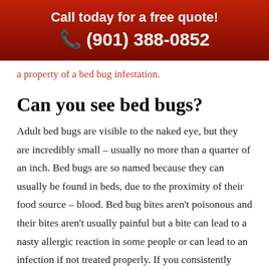Call today for a free quote!
☎ (901) 388-0852
a property of a bed bug infestation.
Can you see bed bugs?
Adult bed bugs are visible to the naked eye, but they are incredibly small – usually no more than a quarter of an inch. Bed bugs are so named because they can usually be found in beds, due to the proximity of their food source – blood. Bed bug bites aren't poisonous and their bites aren't usually painful but a bite can lead to a nasty allergic reaction in some people or can lead to an infection if not treated properly. If you consistently wake up with red welts, check around your bed area for a small, tan or brown wingless bed bug. If you spot one or